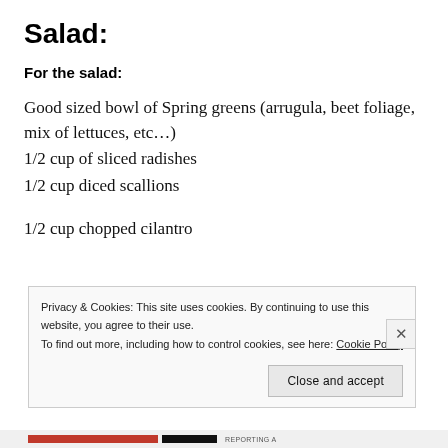Salad:
For the salad:
Good sized bowl of Spring greens (arrugula, beet foliage, mix of lettuces, etc…)
1/2 cup of sliced radishes
1/2 cup diced scallions
1/2 cup chopped cilantro
Privacy & Cookies: This site uses cookies. By continuing to use this website, you agree to their use.
To find out more, including how to control cookies, see here: Cookie Policy
Close and accept